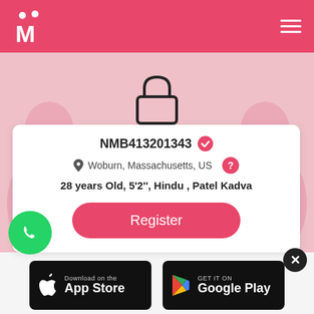Matrimony app header with logo and hamburger menu
[Figure (screenshot): Lock/privacy icon indicating hidden profile]
NMB413201343 (verified badge)
Woburn, Massachusetts, US
28 years Old, 5'2'', Hindu , Patel Kadva
Register
[Figure (logo): WhatsApp logo icon]
[Figure (logo): Download on the App Store badge]
[Figure (logo): GET IT ON Google Play badge]